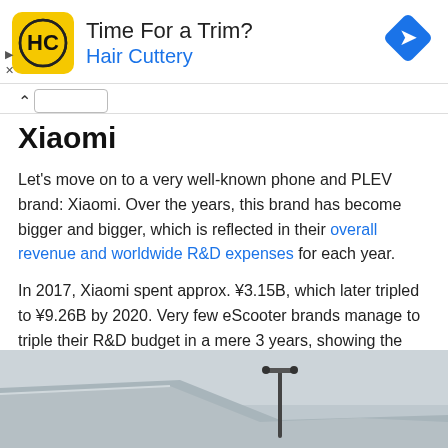[Figure (infographic): Hair Cuttery advertisement banner with yellow logo, 'Time For a Trim?' heading, 'Hair Cuttery' brand name in blue, and a blue navigation arrow icon on the right.]
Xiaomi
Let's move on to a very well-known phone and PLEV brand: Xiaomi. Over the years, this brand has become bigger and bigger, which is reflected in their overall revenue and worldwide R&D expenses for each year.
In 2017, Xiaomi spent approx. ¥3.15B, which later tripled to ¥9.26B by 2020. Very few eScooter brands manage to triple their R&D budget in a mere 3 years, showing the huge advantage this brand has over competitors.
[Figure (photo): Photograph showing a building rooftop with a scooter handlebar/pole visible in the background against a light grey sky.]